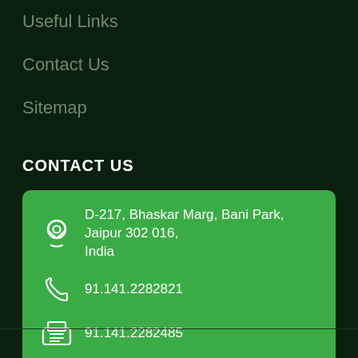Useful Links
Contact Us
Sitemap
CONTACT US
D-217, Bhaskar Marg, Bani Park, Jaipur 302 016, India
91.141.2282821
91.141.2282485